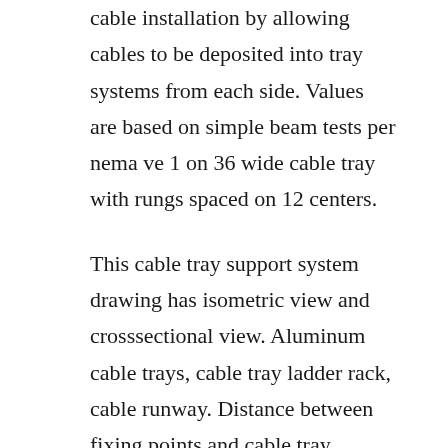cable installation by allowing cables to be deposited into tray systems from each side. Values are based on simple beam tests per nema ve 1 on 36 wide cable tray with rungs spaced on 12 centers.
This cable tray support system drawing has isometric view and crosssectional view. Aluminum cable trays, cable tray ladder rack, cable runway. Distance between fixing points and cable tray support spacing shall be a maximum of three meter for ladder type tray and two meter maximum for perforated tray